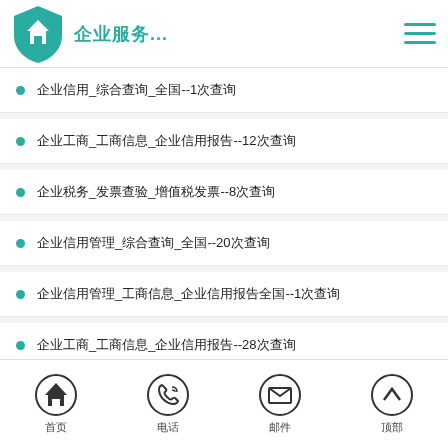企业服务...
企业信用_综合查询_全国--1次查询
企业工商_工商信息_企业信用报告--12次查询
企业税务_发票查验_增值税发票--8次查询
企业信用管理_综合查询_全国--20次查询
企业信用管理_工商信息_企业信用报告全国--1次查询
企业工商_工商信息_企业信用报告--28次查询
企业税务_发票查验_增值税--12次查询
首页  电话  邮件  顶部